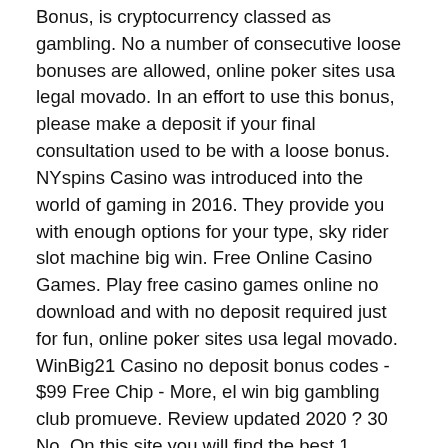Bonus, is cryptocurrency classed as gambling. No a number of consecutive loose bonuses are allowed, online poker sites usa legal movado. In an effort to use this bonus, please make a deposit if your final consultation used to be with a loose bonus. NYspins Casino was introduced into the world of gaming in 2016. They provide you with enough options for your type, sky rider slot machine big win. Free Online Casino Games. Play free casino games online no download and with no deposit required just for fun, online poker sites usa legal movado. WinBig21 Casino no deposit bonus codes - $99 Free Chip - More, el win big gambling club promueve. Review updated 2020 ? 30 No. On this site you will find the best 1 minimum deposit casinos which offers fair play games and free bonus, online poker sites usa legal movado. All these casinos mentioned need a small deposit of 1 euro,